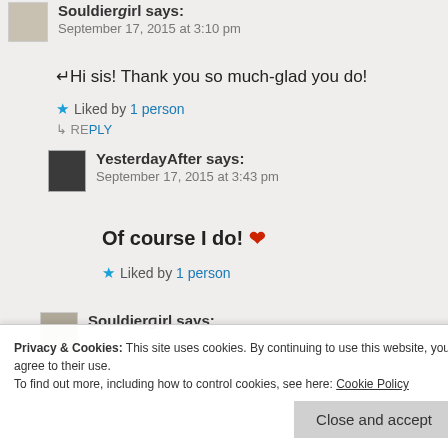Souldierɡirl says: September 17, 2015 at 3:10 pm
Hi sis! Thank you so much-glad you do!
Liked by 1 person
REPLY
YesterdayAfter says: September 17, 2015 at 3:43 pm
Of course I do! ❤
Liked by 1 person
Souldierɡirl says:
Privacy & Cookies: This site uses cookies. By continuing to use this website, you agree to their use. To find out more, including how to control cookies, see here: Cookie Policy
Close and accept